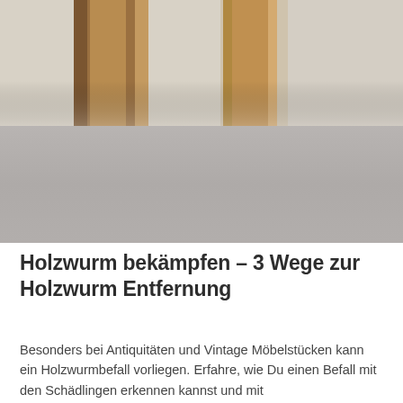[Figure (photo): Photo of wooden furniture or antique wooden columns/pillars against a beige/cream wall background, partially obscured by a grey gradient overlay in the lower portion]
Holzwurm bekämpfen – 3 Wege zur Holzwurm Entfernung
Besonders bei Antiquitäten und Vintage Möbelstücken kann ein Holzwurmbefall vorliegen. Erfahre, wie Du einen Befall mit den Schädlingen erkennen kannst und mit